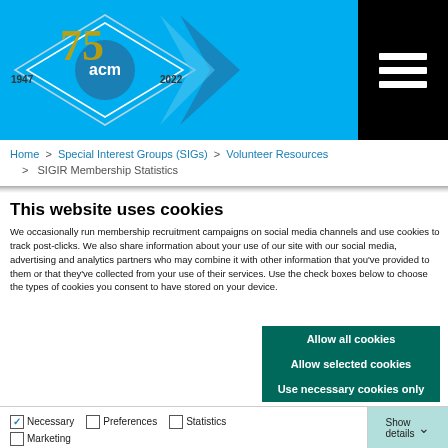[Figure (logo): ACM 75th anniversary logo with blue diamond shape, '1947' and '2022' text, and 'acm' in circle]
Home > Special Interest Groups (SIGs) > Volunteer Resources > SIGIR Membership Statistics
This website uses cookies
We occasionally run membership recruitment campaigns on social media channels and use cookies to track post-clicks. We also share information about your use of our site with our social media, advertising and analytics partners who may combine it with other information that you've provided to them or that they've collected from your use of their services. Use the check boxes below to choose the types of cookies you consent to have stored on your device.
Allow all cookies
Allow selected cookies
Use necessary cookies only
Necessary  Preferences  Statistics  Marketing  Show details